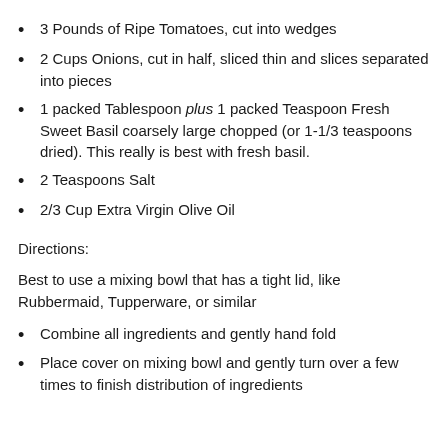3 Pounds of Ripe Tomatoes, cut into wedges
2 Cups Onions, cut in half, sliced thin and slices separated into pieces
1 packed Tablespoon plus 1 packed Teaspoon Fresh Sweet Basil coarsely large chopped (or 1-1/3 teaspoons dried). This really is best with fresh basil.
2 Teaspoons Salt
2/3 Cup Extra Virgin Olive Oil
Directions:
Best to use a mixing bowl that has a tight lid, like Rubbermaid, Tupperware, or similar
Combine all ingredients and gently hand fold
Place cover on mixing bowl and gently turn over a few times to finish distribution of ingredients